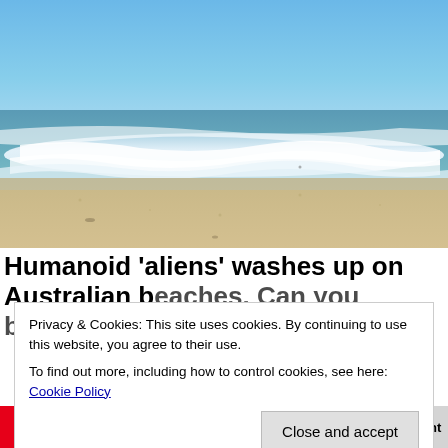[Figure (photo): Beach scene with blue sky, ocean waves with white foam, and sandy beach in the foreground. The horizon shows a clear blue sky in the upper portion and greenish-blue ocean water with breaking waves.]
Humanoid 'aliens' washes up on Australian beaches. Can you believe it?
Privacy & Cookies: This site uses cookies. By continuing to use this website, you agree to their use.
To find out more, including how to control cookies, see here: Cookie Policy
Close and accept
Save | Share 20 | Tweet | Email | Print